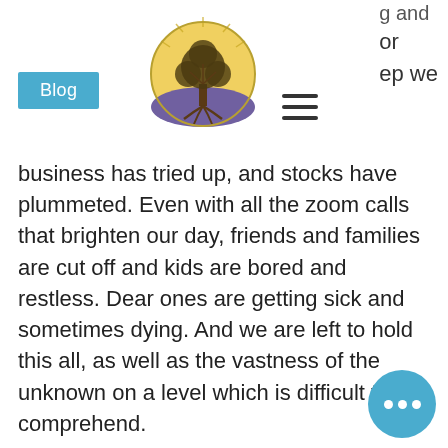Blog
[Figure (logo): Circular logo depicting a tree with roots, set against a yellow and purple background]
g and or ep we
business has tried up, and stocks have plummeted. Even with all the zoom calls that brighten our day, friends and families are cut off and kids are bored and restless. Dear ones are getting sick and sometimes dying. And we are left to hold this all, as well as the vastness of the unknown on a level which is difficult to comprehend.
We need to be quite careful not to turn this struggle into added pressure as we naturally ask ourselves, what am I supposed to do? How am I supposed to make things better, to ...